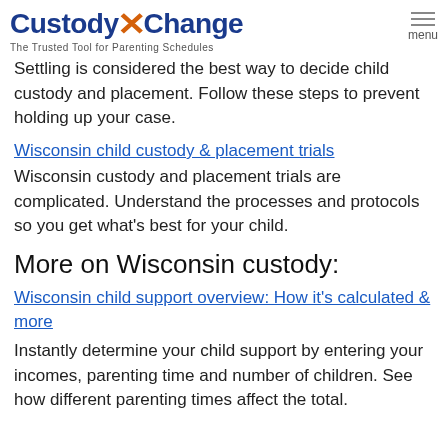CustodyXChange - The Trusted Tool for Parenting Schedules
Settling is considered the best way to decide child custody and placement. Follow these steps to prevent holding up your case.
Wisconsin child custody & placement trials
Wisconsin custody and placement trials are complicated. Understand the processes and protocols so you get what's best for your child.
More on Wisconsin custody:
Wisconsin child support overview: How it's calculated & more
Instantly determine your child support by entering your incomes, parenting time and number of children. See how different parenting times affect the total.